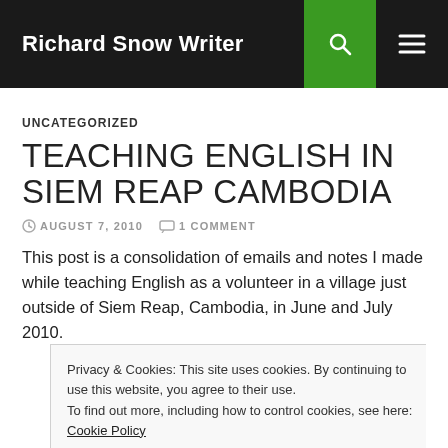Richard Snow Writer
UNCATEGORIZED
TEACHING ENGLISH IN SIEM REAP CAMBODIA
AUGUST 7, 2010   1 COMMENT
This post is a consolidation of emails and notes I made while teaching English as a volunteer in a village just outside of Siem Reap, Cambodia, in June and July 2010.
Privacy & Cookies: This site uses cookies. By continuing to use this website, you agree to their use.
To find out more, including how to control cookies, see here: Cookie Policy
Close and accept
airport I filled out the forms for a business visa, and they